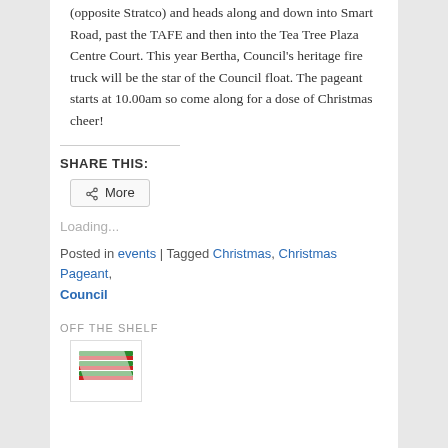(opposite Stratco) and heads along and down into Smart Road, past the TAFE and then into the Tea Tree Plaza Centre Court. This year Bertha, Council's heritage fire truck will be the star of the Council float. The pageant starts at 10.00am so come along for a dose of Christmas cheer!
SHARE THIS:
More
Loading...
Posted in events | Tagged Christmas, Christmas Pageant, Council
OFF THE SHELF
[Figure (logo): Stylized logo with green and red diagonal stripes on white background]